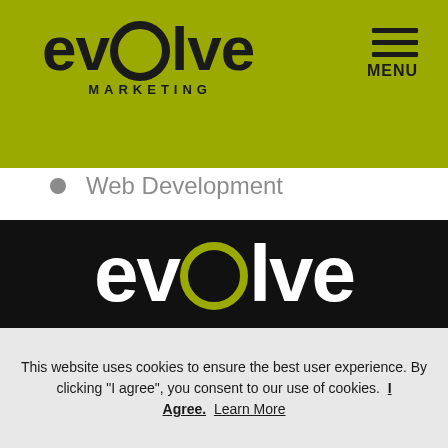[Figure (logo): Evolve Marketing logo — bold black text 'evolve' with a circular 'o', and 'MARKETING' in small caps below, on a yellow-green (#9aaa00) background header bar. A hamburger menu icon with 'MENU' label appears top right.]
Web Development
Web Usability
Website Videos
[Figure (logo): Evolve logo in white with lime-green circular 'o' on a black background, partially cropped]
This website uses cookies to ensure the best user experience. By clicking "I agree", you consent to our use of cookies.  I Agree.  Learn More